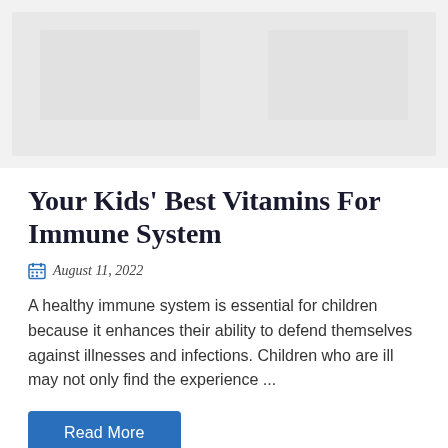[Figure (photo): Faded decorative background image placeholder at top of article card]
Your Kids' Best Vitamins For Immune System
August 11, 2022
A healthy immune system is essential for children because it enhances their ability to defend themselves against illnesses and infections. Children who are ill may not only find the experience ...
Read More